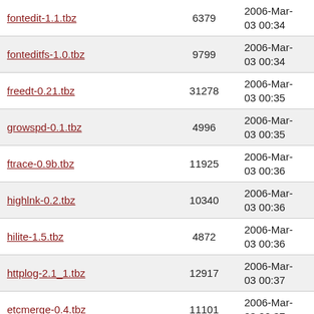| fontedit-1.1.tbz | 6379 | 2006-Mar-03 00:34 |
| fonteditfs-1.0.tbz | 9799 | 2006-Mar-03 00:34 |
| freedt-0.21.tbz | 31278 | 2006-Mar-03 00:35 |
| growspd-0.1.tbz | 4996 | 2006-Mar-03 00:35 |
| ftrace-0.9b.tbz | 11925 | 2006-Mar-03 00:36 |
| highlnk-0.2.tbz | 10340 | 2006-Mar-03 00:36 |
| hilite-1.5.tbz | 4872 | 2006-Mar-03 00:36 |
| httplog-2.1_1.tbz | 12917 | 2006-Mar-03 00:37 |
| etcmerge-0.4.tbz | 11101 | 2006-Mar-03 00:37 |
| diskcheckd-20010823_4.tbz | 13228 | 2006-Mar-03 00:38 |
| cotty-0.4c.tbz | 7278 | 2006-Mar-03 00:38 |